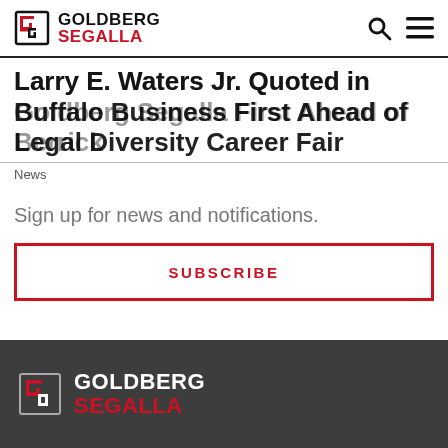GOLDBERG SEGALLA
Larry E. Waters Jr. Quoted in Buffalo Business First Ahead of Berrick Legal Diversity Career Fair
News
Sign up for news and notifications.
SUBSCRIBE
GOLDBERG SEGALLA